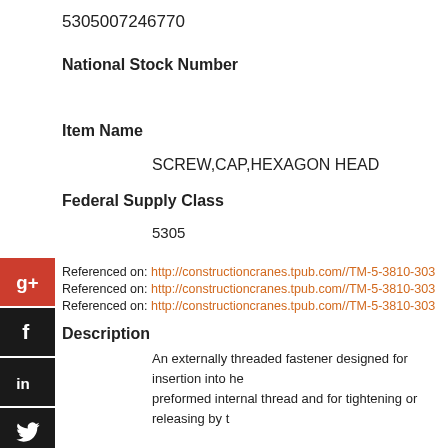5305007246770
National Stock Number
Item Name
SCREW,CAP,HEXAGON HEAD
Federal Supply Class
5305
Referenced on: http://constructioncranes.tpub.com//TM-5-3810-303
Referenced on: http://constructioncranes.tpub.com//TM-5-3810-303
Referenced on: http://constructioncranes.tpub.com//TM-5-3810-303
Description
An externally threaded fastener designed for insertion into he preformed internal thread and for tightening or releasing by t